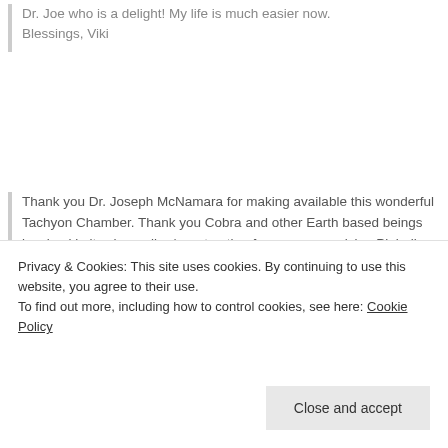Dr. Joe who is a delight! My life is much easier now. Blessings, Viki
Thank you Dr. Joseph McNamara for making available this wonderful Tachyon Chamber. Thank you Cobra and other Earth based beings involved in its channeling/construction from our ever-giving Pleiadian brothers and sisters. During each healing session, I felt
Privacy & Cookies: This site uses cookies. By continuing to use this website, you agree to their use.
To find out more, including how to control cookies, see here: Cookie Policy
Close and accept